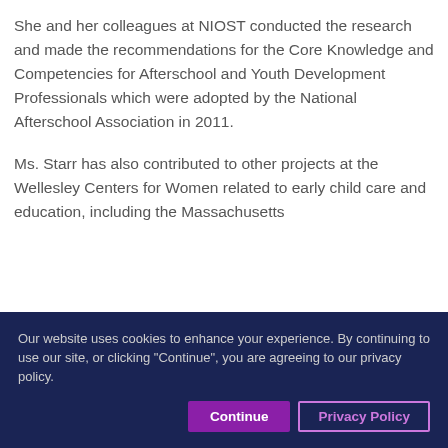She and her colleagues at NIOST conducted the research and made the recommendations for the Core Knowledge and Competencies for Afterschool and Youth Development Professionals which were adopted by the National Afterschool Association in 2011.
Ms. Starr has also contributed to other projects at the Wellesley Centers for Women related to early child care and education, including the Massachusetts
Our website uses cookies to enhance your experience. By continuing to use our site, or clicking "Continue", you are agreeing to our privacy policy.